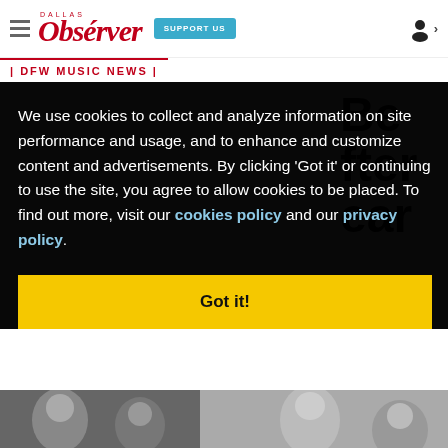Dallas Observer | SUPPORT US
| DFW MUSIC NEWS |
We use cookies to collect and analyze information on site performance and usage, and to enhance and customize content and advertisements. By clicking 'Got it' or continuing to use the site, you agree to allow cookies to be placed. To find out more, visit our cookies policy and our privacy policy.
Got it!
[Figure (photo): Grayscale photos of people visible at the bottom of the page, partially obscured by cookie consent modal]